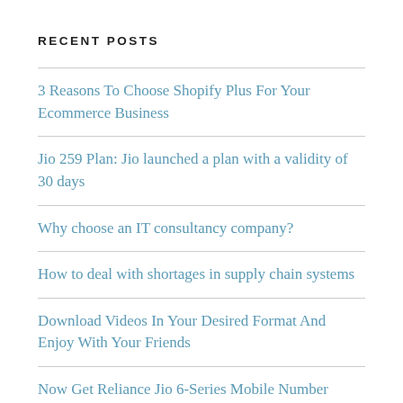RECENT POSTS
3 Reasons To Choose Shopify Plus For Your Ecommerce Business
Jio 259 Plan: Jio launched a plan with a validity of 30 days
Why choose an IT consultancy company?
How to deal with shortages in supply chain systems
Download Videos In Your Desired Format And Enjoy With Your Friends
Now Get Reliance Jio 6-Series Mobile Number Starting With "+91-6"